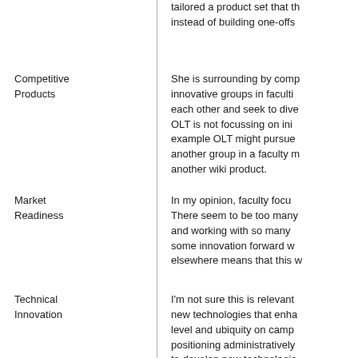tailored a product set that th… instead of building one-offs
Competitive Products
She is surrounding by comp… innovative groups in faculti… each other and seek to dive… OLT is not focussing on ini… example OLT might pursue … another group in a faculty m… another wiki product.
Market Readiness
In my opinion, faculty focu… There seem to be too many … and working with so many … some innovation forward w… elsewhere means that this w…
Technical Innovation
I'm not sure this is relevant… new technologies that enha… level and ubiquity on camp… positioning administratively… to develop new technologie… innovation in intrapreneuris…